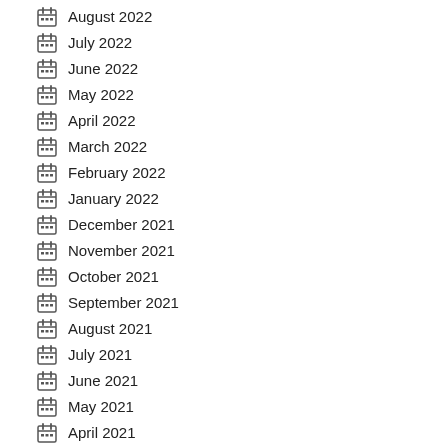August 2022
July 2022
June 2022
May 2022
April 2022
March 2022
February 2022
January 2022
December 2021
November 2021
October 2021
September 2021
August 2021
July 2021
June 2021
May 2021
April 2021
March 2021